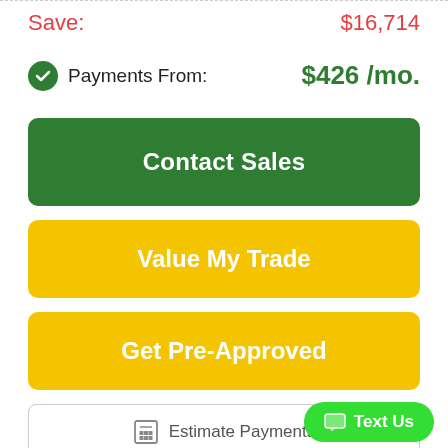Save: $16,714
Payments From: $426 /mo.
Contact Sales
Value My Trade
Get Pre-Approved
Estimate Payments
Apply for Financing
Text Us